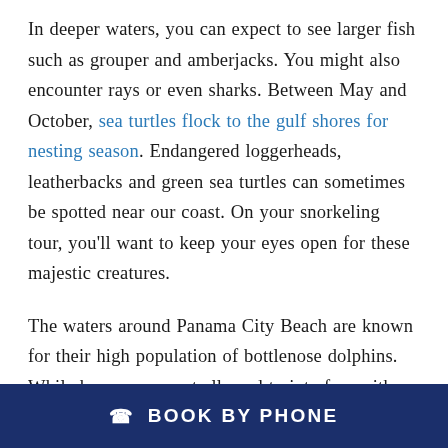In deeper waters, you can expect to see larger fish such as grouper and amberjacks. You might also encounter rays or even sharks. Between May and October, sea turtles flock to the gulf shores for nesting season. Endangered loggerheads, leatherbacks and green sea turtles can sometimes be spotted near our coast. On your snorkeling tour, you'll want to keep your eyes open for these majestic creatures.
The waters around Panama City Beach are known for their high population of bottlenose dolphins. While humans are not allowed to interfere with the activities of these creatures, they sometimes swim close and interact…
BOOK BY PHONE